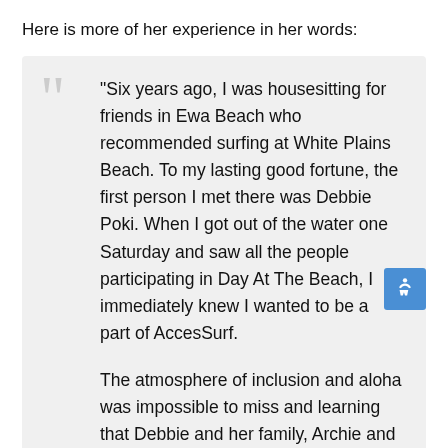Here is more of her experience in her words:
“Six years ago, I was housesitting for friends in Ewa Beach who recommended surfing at White Plains Beach. To my lasting good fortune, the first person I met there was Debbie Poki. When I got out of the water one Saturday and saw all the people participating in Day At The Beach, I immediately knew I wanted to be a part of AccesSurf.

The atmosphere of inclusion and aloha was impossible to miss and learning that Debbie and her family, Archie and Kiana, were also involved just sealed the deal. I had such a wonderful experience that I scheduled my